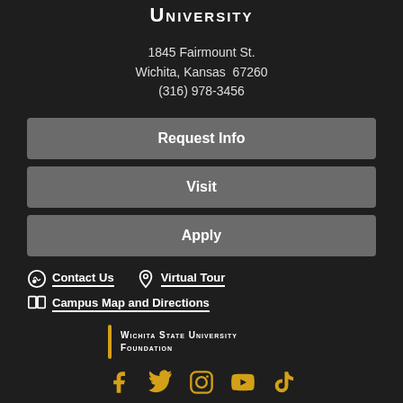University
1845 Fairmount St.
Wichita, Kansas  67260
(316) 978-3456
Request Info
Visit
Apply
Contact Us
Virtual Tour
Campus Map and Directions
Wichita State University Foundation
[Figure (logo): Social media icons: Facebook, Twitter, Instagram, YouTube, TikTok in gold/yellow color]